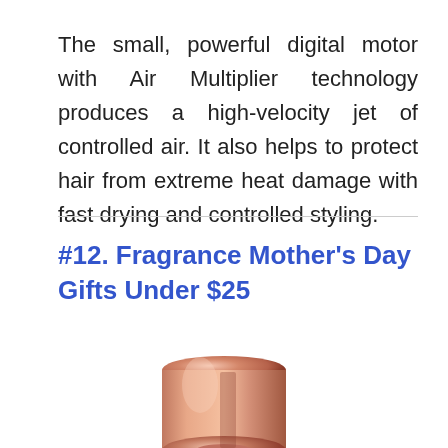The small, powerful digital motor with Air Multiplier technology produces a high-velocity jet of controlled air. It also helps to protect hair from extreme heat damage with fast drying and controlled styling.
#12. Fragrance Mother's Day Gifts Under $25
[Figure (photo): A rose gold perfume bottle pump/atomizer top with a black wax seal stamped V&R visible at the bottom right of the bottle.]